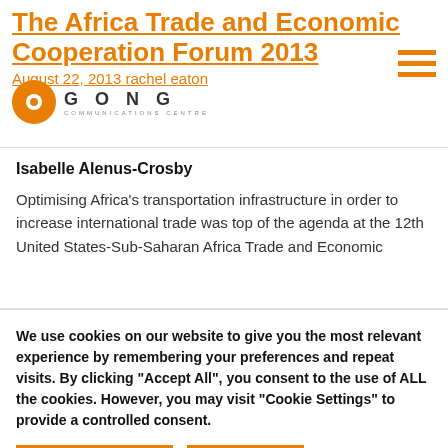The Africa Trade and Economic Cooperation Forum 2013
August 22, 2013 rachel eaton
[Figure (logo): GONG Communications Centre logo with orange circle and hamburger menu icon]
Isabelle Alenus-Crosby
Optimising Africa's transportation infrastructure in order to increase international trade was top of the agenda at the 12th United States-Sub-Saharan Africa Trade and Economic
We use cookies on our website to give you the most relevant experience by remembering your preferences and repeat visits. By clicking "Accept All", you consent to the use of ALL the cookies. However, you may visit "Cookie Settings" to provide a controlled consent.
Cookie Settings   Accept All